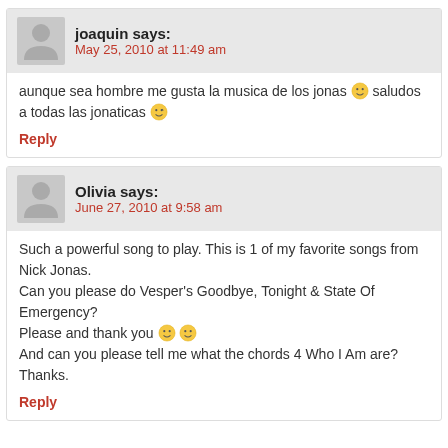joaquin says: May 25, 2010 at 11:49 am
aunque sea hombre me gusta la musica de los jonas 🙂 saludos a todas las jonaticas 😉
Reply
Olivia says: June 27, 2010 at 9:58 am
Such a powerful song to play. This is 1 of my favorite songs from Nick Jonas.
Can you please do Vesper's Goodbye, Tonight & State Of Emergency?
Please and thank you 🙂 🙂
And can you please tell me what the chords 4 Who I Am are?
Thanks.
Reply